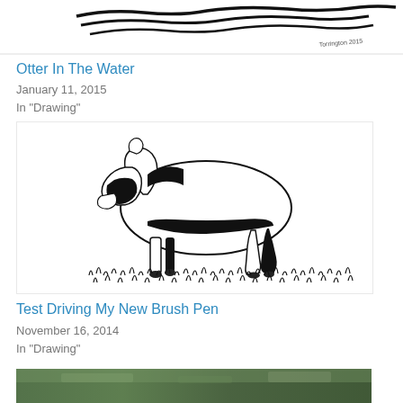[Figure (illustration): Black and white drawing of an otter in water with dark wave/ripple marks]
Otter In The Water
January 11, 2015
In "Drawing"
[Figure (illustration): Black and white ink drawing of a deer grazing, shown in bold contrast style with grass below]
Test Driving My New Brush Pen
November 16, 2014
In "Drawing"
[Figure (photo): Partial photo at bottom, green/natural tones, cropped]